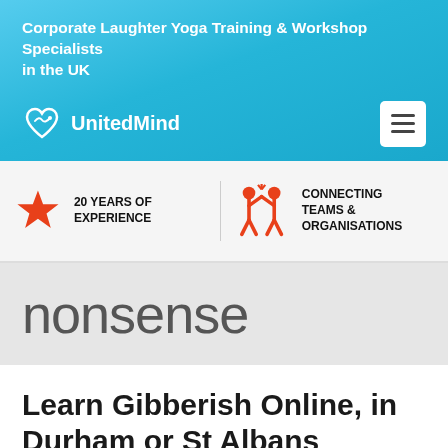Corporate Laughter Yoga Training & Workshop Specialists in the UK
[Figure (logo): UnitedMind logo with heart/mind icon and hamburger menu button]
[Figure (infographic): 20 Years of Experience badge with orange star, and Connecting Teams & Organisations badge with two figures high-fiving]
nonsense
Learn Gibberish Online, in Durham or St Albans
Leave a Comment / Gibberish Coach / By Lotte Mikkelson